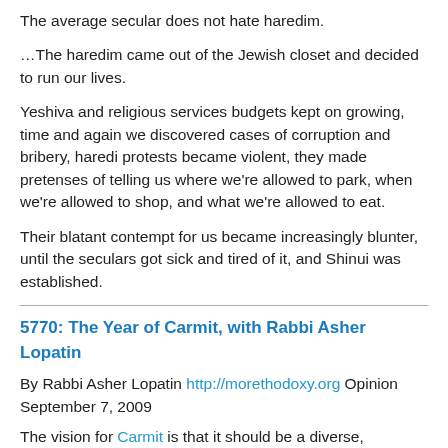The average secular does not hate haredim.
…The haredim came out of the Jewish closet and decided to run our lives.
Yeshiva and religious services budgets kept on growing, time and again we discovered cases of corruption and bribery, haredi protests became violent, they made pretenses of telling us where we're allowed to park, when we're allowed to shop, and what we're allowed to eat.
Their blatant contempt for us became increasingly blunter, until the seculars got sick and tired of it, and Shinui was established.
5770: The Year of Carmit, with Rabbi Asher Lopatin
By Rabbi Asher Lopatin http://morethodoxy.org Opinion September 7, 2009
The vision for Carmit is that it should be a diverse, pluralistic